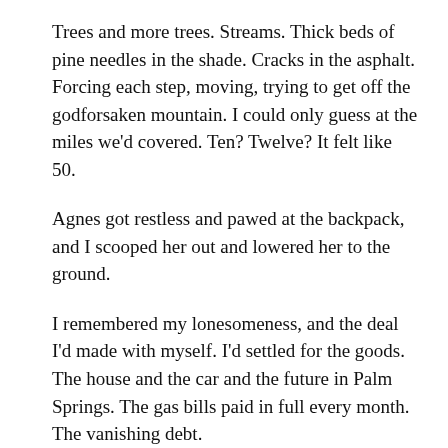Trees and more trees. Streams. Thick beds of pine needles in the shade. Cracks in the asphalt. Forcing each step, moving, trying to get off the godforsaken mountain. I could only guess at the miles we'd covered. Ten? Twelve? It felt like 50.
Agnes got restless and pawed at the backpack, and I scooped her out and lowered her to the ground.
I remembered my lonesomeness, and the deal I'd made with myself. I'd settled for the goods. The house and the car and the future in Palm Springs. The gas bills paid in full every month. The vanishing debt.
I could sit in silence in restaurants for the rest of my life, right? In exchange for that?
Agnes trotted beside me, taking a dozen little steps for